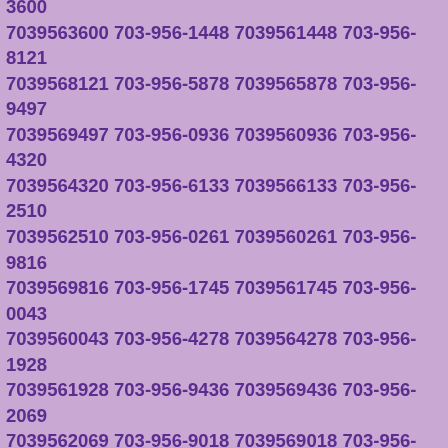7039568219 703-956-9717 7039569717 703-956-7861 7039567861 703-956-6566 7039566566 703-956-6365 7039566365 703-956-5358 7039565358 703-956-2685 7039562685 703-956-7349 7039567349 703-956-7148 7039567148 703-956-2420 7039562420 703-956-9718 7039569718 703-956-0770 7039560770 703-956-3600 7039563600 703-956-1448 7039561448 703-956-8121 7039568121 703-956-5878 7039565878 703-956-9497 7039569497 703-956-0936 7039560936 703-956-4320 7039564320 703-956-6133 7039566133 703-956-2510 7039562510 703-956-0261 7039560261 703-956-9816 7039569816 703-956-1745 7039561745 703-956-0043 7039560043 703-956-4278 7039564278 703-956-1928 7039561928 703-956-9436 7039569436 703-956-2069 7039562069 703-956-9018 7039569018 703-956-2251 7039562251 703-956-1981 7039561981 703-956-0252 7039560252 703-956-0953 7039560953 703-956-3894 7039563894 703-956-8461 7039568461 703-956-3423 7039563423 703-956-0963 7039560963 703-956-2406 7039562406 703-956-8814 7039568814 703-956-0969